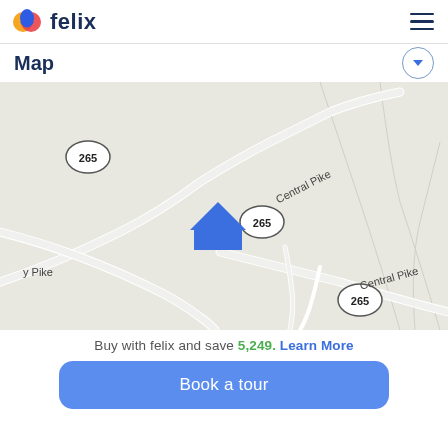felix
Map
[Figure (map): Street map showing Central Pike and route 265, with a blue house marker indicating a property location. Two route 265 shields visible, roads labeled Central Pike, and a partial road label 'y Pike' on the left.]
Buy with felix and save 5,249. Learn More
Book a tour